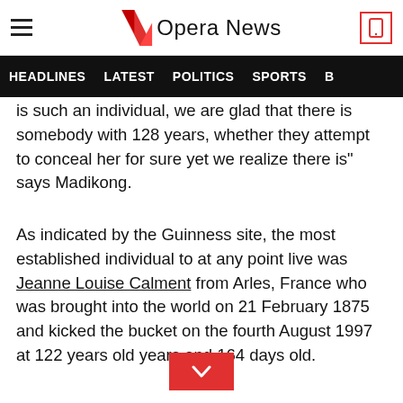Opera News
is such an individual, we are glad that there is somebody with 128 years, whether they attempt to conceal her for sure yet we realize there is" says Madikong.
As indicated by the Guinness site, the most established individual to at any point live was Jeanne Louise Calment from Arles, France who was brought into the world on 21 February 1875 and kicked the bucket on the fourth August 1997 at 122 years old years and 164 days old.